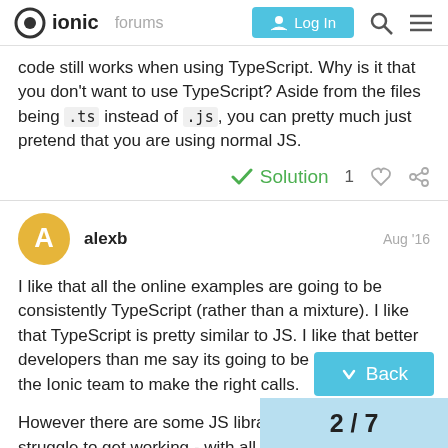ionic forums | Log In
code still works when using TypeScript. Why is it that you don't want to use TypeScript? Aside from the files being .ts instead of .js, you can pretty much just pretend that you are using normal JS.
✓ Solution  1 ♡ 🔗
alexb  Aug '16
I like that all the online examples are going to be consistently TypeScript (rather than a mixture). I like that TypeScript is pretty similar to JS. I like that better developers than me say its going to be great. I trust the Ionic team to make the right calls.

However there are some JS libraries, that its a real struggle to get working - with all the typings initia… probably a temporary situation as over ti…
↓ Back
2 / 7